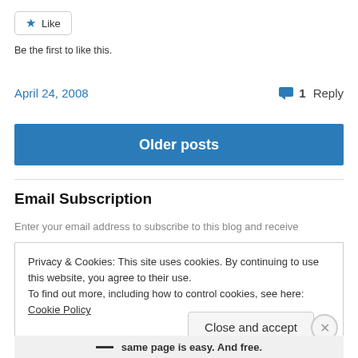[Figure (other): Like button with star icon]
Be the first to like this.
April 24, 2008
1 Reply
[Figure (other): Older posts navigation button, blue background]
Email Subscription
Enter your email address to subscribe to this blog and receive
Privacy & Cookies: This site uses cookies. By continuing to use this website, you agree to their use.
To find out more, including how to control cookies, see here: Cookie Policy
Close and accept
same page is easy. And free.